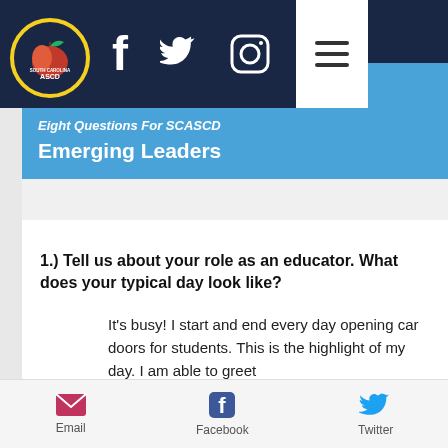[Figure (screenshot): South Carolina ASCD logo in a yellow-bordered circle on dark navy background]
Eight Questions For SCASCD Emerging Leaders
1.) Tell us about your role as an educator. What does your typical day look like?
It's busy!  I start and end every day opening car doors for students.  This is the highlight of my day. I am able to greet
Email   Facebook   Twitter